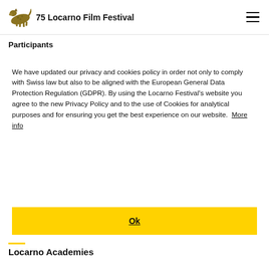75 Locarno Film Festival
Participants
We have updated our privacy and cookies policy in order not only to comply with Swiss law but also to be aligned with the European General Data Protection Regulation (GDPR). By using the Locarno Festival's website you agree to the new Privacy Policy and to the use of Cookies for analytical purposes and for ensuring you get the best experience on our website.  More info
Ok
Locarno Academies